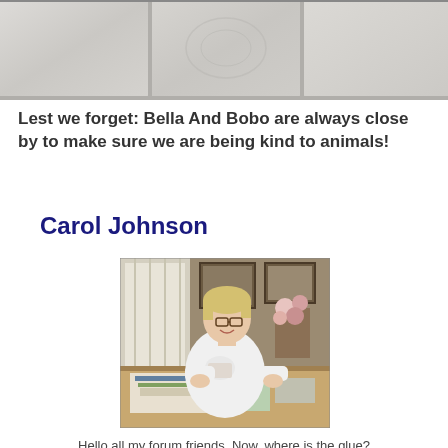[Figure (photo): Close-up photo of light gray/beige ceramic floor tiles with visible grout lines]
Lest we forget: Bella And Bobo are always close by to make sure we are being kind to animals!
Carol Johnson
[Figure (photo): Photo of a smiling woman with short blonde hair sitting at a table covered with scrapbooking materials, papers, and craft supplies. She is wearing a white long-sleeve shirt. Behind her are curtains, framed pictures, and flowers.]
Hello all my forum friends. Now, where is the glue?